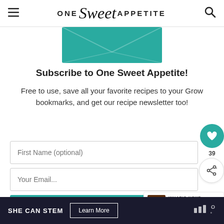ONE Sweet APPETITE
[Figure (illustration): Teal envelope graphic with crossed diagonal lines, newsletter subscription visual]
Subscribe to One Sweet Appetite!
Free to use, save all your favorite recipes to your Grow bookmarks, and get our recipe newsletter too!
First Name (optional)
Your Email...
SUBSCRIBE
39
[Figure (photo): Small thumbnail of Double Chocolate dessert]
WHAT'S NEXT → Double Chocolate...
SHE CAN STEM Learn More